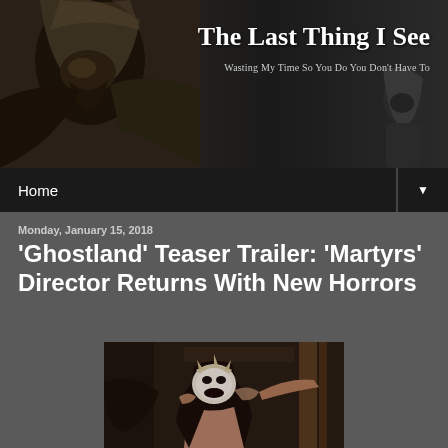[Figure (photo): Blog header banner image showing a hooded figure on the left and a second figure on the right, with overlay text showing the blog name and tagline]
The Last Thing I See
Wasting My Time So You Do You Don't Have To
Home
Monday, January 15, 2018
'Ghostland' Teaser Trailer: 'Martyrs' Director Returns With New Horrors
[Figure (photo): Still from Ghostland film showing a woman with a crown/headpiece with her mouth open in an expression of fear or horror, appearing to be grabbed or constrained, in a dark, cluttered interior setting]